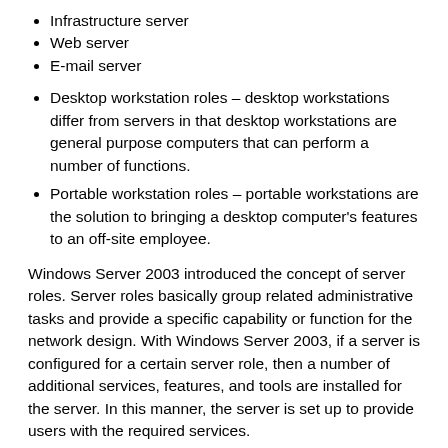Infrastructure server
Web server
E-mail server
Desktop workstation roles – desktop workstations differ from servers in that desktop workstations are general purpose computers that can perform a number of functions.
Portable workstation roles – portable workstations are the solution to bringing a desktop computer's features to an off-site employee.
Windows Server 2003 introduced the concept of server roles. Server roles basically group related administrative tasks and provide a specific capability or function for the network design. With Windows Server 2003, if a server is configured for a certain server role, then a number of additional services, features, and tools are installed for the server. In this manner, the server is set up to provide users with the required services.
Windows Server 2003 provides a new tool for defining and managing server roles, namely, the Manage Your